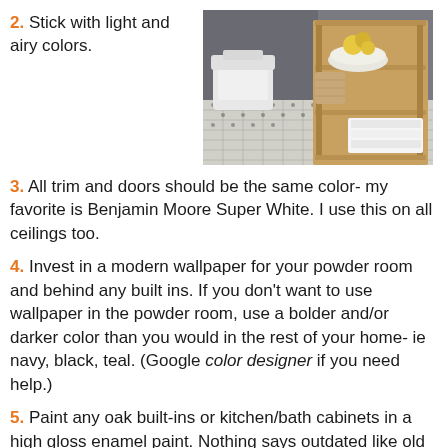2. Stick with light and airy colors.
[Figure (photo): Bathroom interior with white toilet, wooden shelving unit with towels and a bowl of flowers, patterned tile floor]
3. All trim and doors should be the same color- my favorite is Benjamin Moore Super White. I use this on all ceilings too.
4. Invest in a modern wallpaper for your powder room and behind any built ins. If you don't want to use wallpaper in the powder room, use a bolder and/or darker color than you would in the rest of your home- ie navy, black, teal. (Google color designer if you need help.)
5. Paint any oak built-ins or kitchen/bath cabinets in a high gloss enamel paint. Nothing says outdated like old oak wood!
6. Choose a bold color that will coordinate with your exterior